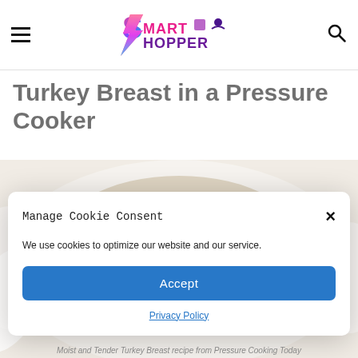Smart Hopper (logo)
Turkey Breast in a Pressure Cooker
[Figure (photo): Moist and tender turkey breast on a white platter, photographed from above]
Moist and Tender Turkey Breast recipe from Pressure Cooking Today
Manage Cookie Consent
We use cookies to optimize our website and our service.
Accept
Privacy Policy